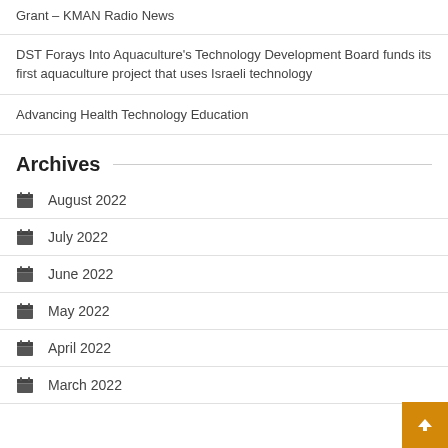Grant – KMAN Radio News
DST Forays Into Aquaculture's Technology Development Board funds its first aquaculture project that uses Israeli technology
Advancing Health Technology Education
Archives
August 2022
July 2022
June 2022
May 2022
April 2022
March 2022